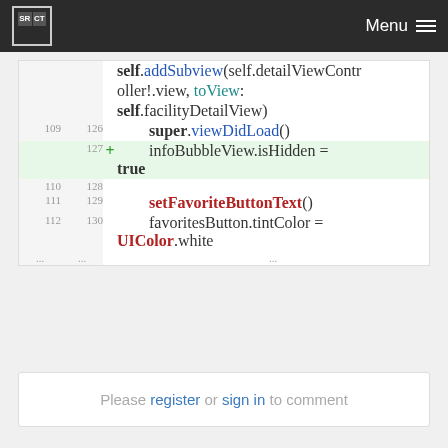SRCT Menu
[Figure (screenshot): Code diff viewer showing Swift code lines 109-130 with line numbers, a highlighted added line 127 'infoBubbleView.isHidden = true', and code including self.addSubview, super.viewDidLoad(), setFavoriteButtonText(), favoritesButton.tintColor = UIColor.white]
Please register or sign in to comment